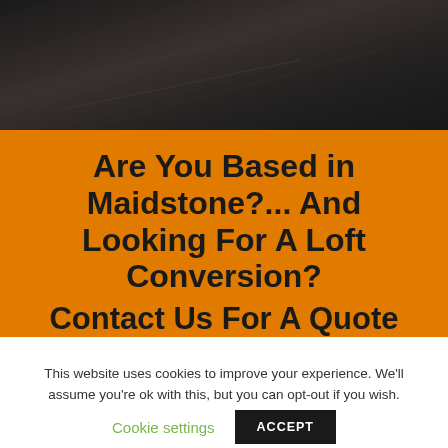[Figure (photo): Dark background photo, appears to be a dark interior or surface, partially visible at top of page]
Are You Based in Maidstone?... And Looking For A Loft Conversion?
Contact Us For A Quote
This website uses cookies to improve your experience. We'll assume you're ok with this, but you can opt-out if you wish.
Cookie settings   ACCEPT